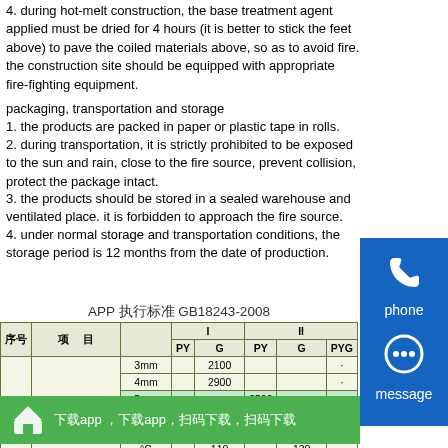4. during hot-melt construction, the base treatment agent applied must be dried for 4 hours (it is better to stick the feet above) to pave the coiled materials above, so as to avoid fire. the construction site should be equipped with appropriate fire-fighting equipment.
packaging, transportation and storage
1. the products are packed in paper or plastic tape in rolls.
2. during transportation, it is strictly prohibited to be exposed to the sun and rain, close to the fire source, prevent collision, protect the package intact.
3. the products should be stored in a sealed warehouse and ventilated place. it is forbidden to approach the fire source.
4. under normal storage and transportation conditions, the storage period is 12 months from the date of production.
[Figure (infographic): Blue phone contact widget with phone icon and label 'phone']
[Figure (infographic): Blue message contact widget with chat bubble icon and label 'message']
APP 执行标准 GB18243-2008
| 序号 | 项 目 |  | I PY | I G | II PY | II G | II PYG |
| --- | --- | --- | --- | --- | --- | --- | --- |
|  |  | 3mm |  | 2100 |  |  | · |
|  |  | 4mm |  | 2900 |  |  | · |
| 1 | 可溶物含量 (g/m²)≥ | 5mm |  |  | 3500 |  |  |
|  |  | 试验现象 | · | 胎基不透 | · | 胎基不透 | · |
|  |  | °C |  | 110 |  | 130 |  |
| 2 | 耐热性 | ≤mm |  |  | 2 |  |  |
[Figure (infographic): Green app download banner with home icon and text 'app app']